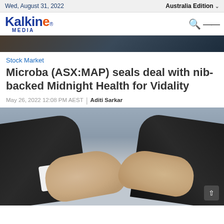Wed, August 31, 2022
Australia Edition
[Figure (logo): Kalkine Media logo — blue text with orange E]
[Figure (photo): Partial top image — dark background, likely person in suit]
Stock Market
Microba (ASX:MAP) seals deal with nib-backed Midnight Health for Vidality
May 26, 2022 12:08 PM AEST | Aditi Sarkar
[Figure (photo): Two people in suits shaking hands, close-up, blurred background]